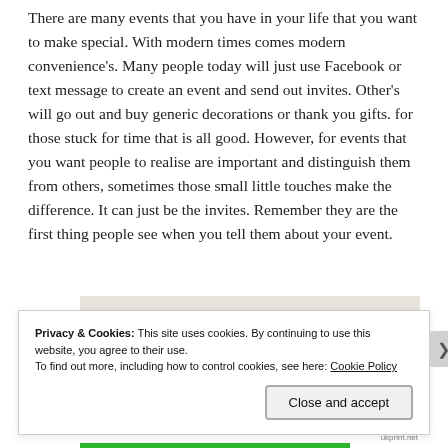There are many events that you have in your life that you want to make special. With modern times comes modern convenience's. Many people today will just use Facebook or text message to create an event and send out invites. Other's will go out and buy generic decorations or thank you gifts. for those stuck for time that is all good. However, for events that you want people to realise are important and distinguish them from others, sometimes those small little touches make the difference. It can just be the invites. Remember they are the first thing people see when you tell them about your event.
[Figure (photo): A partially visible decorative image, mostly obscured by a cookie consent banner overlay.]
Privacy & Cookies: This site uses cookies. By continuing to use this website, you agree to their use.
To find out more, including how to control cookies, see here: Cookie Policy
Close and accept